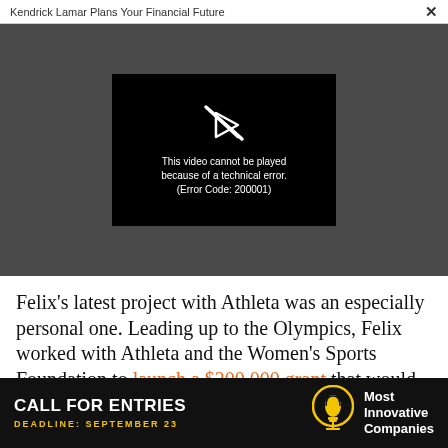Kendrick Lamar Plans Your Financial Future
[Figure (screenshot): Video player showing error message: 'This video cannot be played because of a technical error. (Error Code: 200001)' with a broken play button icon on black background, surrounded by dark grey area.]
Felix's latest project with Athleta was an especially personal one. Leading up to the Olympics, Felix worked with Athleta and the Women's Sports Foundation to launch a $200,000 grant that would
[Figure (infographic): Advertisement banner: CALL FOR ENTRIES, DEADLINE: SEPTEMBER 23, Most Innovative Companies, with lightbulb icon.]